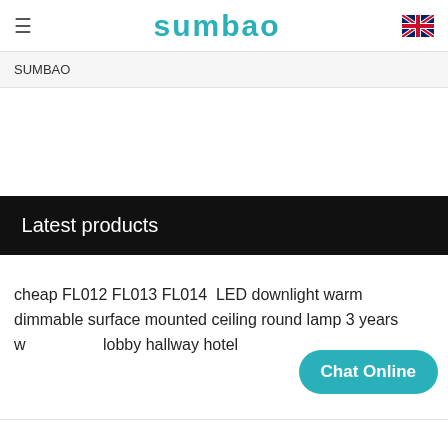SUMBAO (logo)
SUMBAO
Latest products
cheap FL012 FL013 FL014  LED downlight warm dimmable surface mounted ceiling round lamp 3 years w… lobby hallway hotel